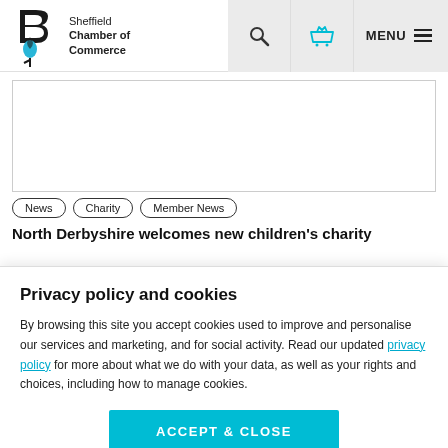Sheffield Chamber of Commerce
[Figure (illustration): Sheffield Chamber of Commerce logo with stylized B and flower icon]
[Figure (screenshot): Main content image placeholder area with border]
News
Charity
Member News
North Derbyshire welcomes new children's charity
Privacy policy and cookies
By browsing this site you accept cookies used to improve and personalise our services and marketing, and for social activity. Read our updated privacy policy for more about what we do with your data, as well as your rights and choices, including how to manage cookies.
ACCEPT & CLOSE